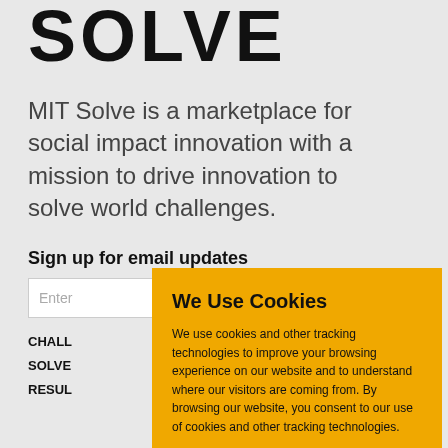SOLVE
MIT Solve is a marketplace for social impact innovation with a mission to drive innovation to solve world challenges.
Sign up for email updates
Enter
CHALL
SOLVE
RESUL
We Use Cookies

We use cookies and other tracking technologies to improve your browsing experience on our website and to understand where our visitors are coming from. By browsing our website, you consent to our use of cookies and other tracking technologies.

ACCEPT   REJECT